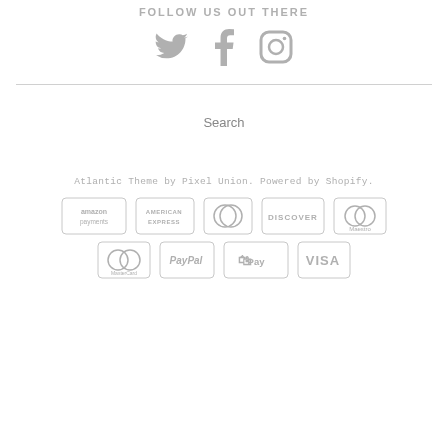FOLLOW US OUT THERE
[Figure (illustration): Social media icons: Twitter bird, Facebook F, Instagram camera]
Search
Atlantic Theme by Pixel Union. Powered by Shopify.
[Figure (illustration): Payment method logos: Amazon Payments, American Express, Diners Club, Discover, Maestro, MasterCard, PayPal, Shopify Pay, VISA]